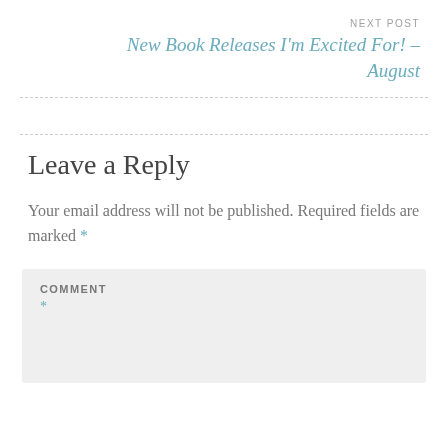NEXT POST
New Book Releases I'm Excited For! – August
Leave a Reply
Your email address will not be published. Required fields are marked *
COMMENT *